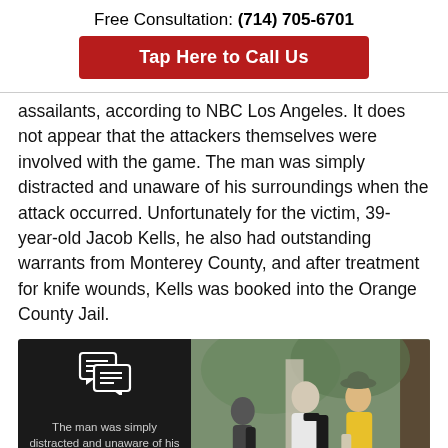Free Consultation: (714) 705-6701
Tap Here to Call Us
assailants, according to NBC Los Angeles. It does not appear that the attackers themselves were involved with the game. The man was simply distracted and unaware of his surroundings when the attack occurred. Unfortunately for the victim, 39-year-old Jacob Kells, he also had outstanding warrants from Monterey County, and after treatment for knife wounds, Kells was booked into the Orange County Jail.
[Figure (photo): Left half shows dark background with chat icon and quote 'The man was simply distracted and unaware of his surroundings when the attack occurred.' Right half shows a photo of people on a street, one in white shirt with backpack, another in yellow t-shirt and hat.]